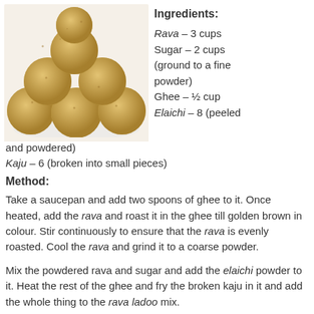[Figure (photo): Stack of rava ladoo balls, golden/beige colored, piled on a white plate]
Ingredients: Rava – 3 cups Sugar – 2 cups (ground to a fine powder) Ghee – ½ cup Elaichi – 8 (peeled and powdered) Kaju – 6 (broken into small pieces)
Method:
Take a saucepan and add two spoons of ghee to it. Once heated, add the rava and roast it in the ghee till golden brown in colour. Stir continuously to ensure that the rava is evenly roasted. Cool the rava and grind it to a coarse powder.
Mix the powdered rava and sugar and add the elaichi powder to it. Heat the rest of the ghee and fry the broken kaju in it and add the whole thing to the rava ladoo mix.